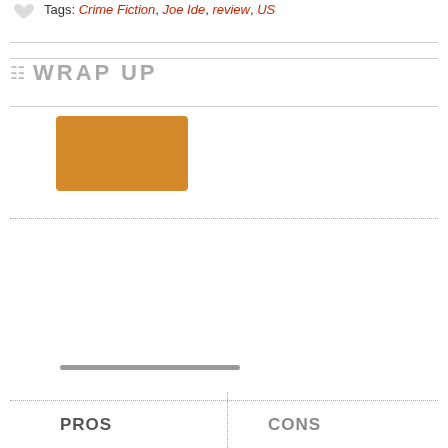Tags: Crime Fiction, Joe Ide, review, US
WRAP UP
[Figure (other): Orange/golden rectangle placeholder image]
[Figure (other): Slider/rating bar element]
PROS
CONS